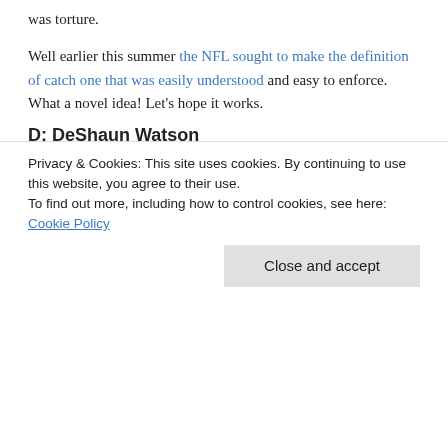was torture.
Well earlier this summer the NFL sought to make the definition of catch one that was easily understood and easy to enforce. What a novel idea! Let's hope it works.
D: DeShaun Watson
[Figure (photo): Broken image placeholder with alt text 'Image result for deshaun watson']
Privacy & Cookies: This site uses cookies. By continuing to use this website, you agree to their use.
To find out more, including how to control cookies, see here: Cookie Policy
team that was already reeling from the season-ending injury to